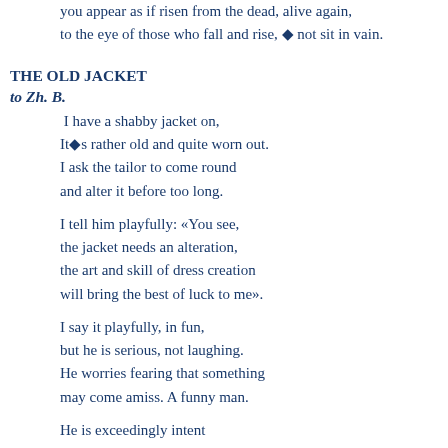you appear as if risen from the dead, alive again,
to the eye of those who fall and rise, ◆ not sit in vain.
THE OLD JACKET
to Zh. B.
I have a shabby jacket on,
It◆s rather old and quite worn out.
I ask the tailor to come round
and alter it before too long.
I tell him playfully: «You see,
the jacket needs an alteration,
the art and skill of dress creation
will bring the best of luck to me».
I say it playfully, in fun,
but he is serious, not laughing.
He worries fearing that something
may come amiss. A funny man.
He is exceedingly intent
on mending it, and seems to like it;
he wants the renovated jacket
to make me happy and content.